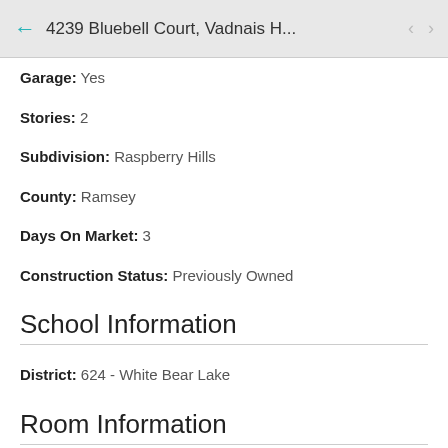4239 Bluebell Court, Vadnais H...
Garage: Yes
Stories: 2
Subdivision: Raspberry Hills
County: Ramsey
Days On Market: 3
Construction Status: Previously Owned
School Information
District: 624 - White Bear Lake
Room Information
Main Floor
Dining Room: 13x10